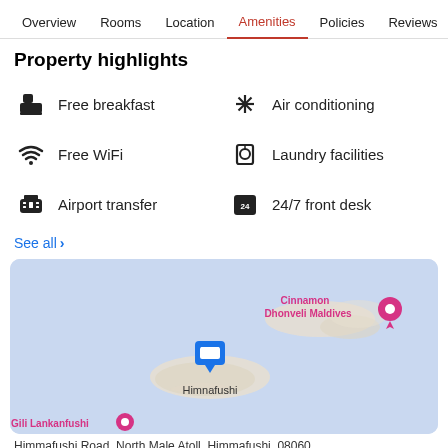Overview  Rooms  Location  Amenities  Policies  Reviews
Property highlights
Free breakfast
Air conditioning
Free WiFi
Laundry facilities
Airport transfer
24/7 front desk
See all >
[Figure (map): Google Maps showing location of hotel near Himnafushi island, North Male Atoll, Maldives. Shows Cinnamon Dhonveli Maldives marker and Gili Lankanfushi label.]
Himmafushi Road, North Male Atoll, Himmafushi, 08060